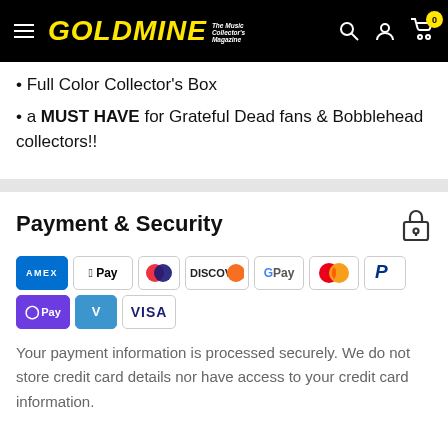GOLDMINE - The Music Collector's Magazine
• Full Color Collector's Box
• a MUST HAVE for Grateful Dead fans & Bobblehead collectors!!
Payment & Security
[Figure (other): Payment method icons: Amex, Apple Pay, Diners Club, Discover, Google Pay, Mastercard, PayPal, OPay, Venmo, Visa]
Your payment information is processed securely. We do not store credit card details nor have access to your credit card information.